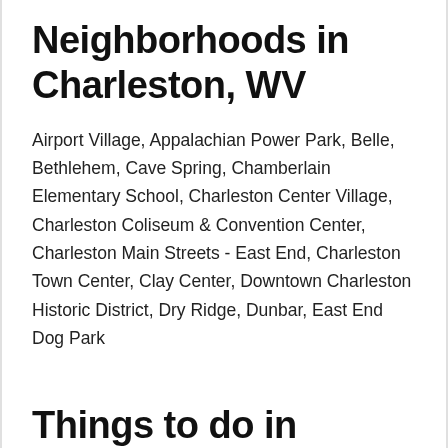Neighborhoods in Charleston, WV
Airport Village, Appalachian Power Park, Belle, Bethlehem, Cave Spring, Chamberlain Elementary School, Charleston Center Village, Charleston Coliseum & Convention Center, Charleston Main Streets - East End, Charleston Town Center, Clay Center, Downtown Charleston Historic District, Dry Ridge, Dunbar, East End Dog Park
Things to do in